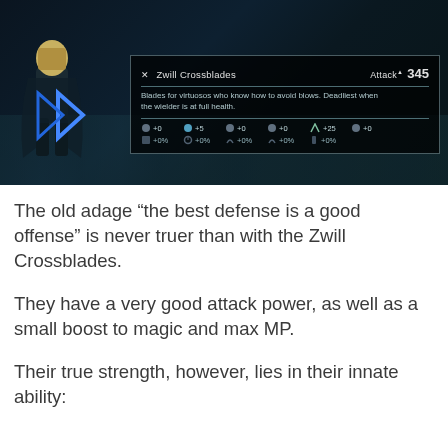[Figure (screenshot): Video game screenshot showing a character in a dark sci-fi environment with an equipment info panel displaying 'Zwill Crossblades' with Attack 345 and stat bonuses including +5 magic and +25 to another stat. Description reads: Blades for virtuosos who know how to avoid blows. Deadliest when the wielder is at full health.]
The old adage “the best defense is a good offense” is never truer than with the Zwill Crossblades.
They have a very good attack power, as well as a small boost to magic and max MP.
Their true strength, however, lies in their innate ability: